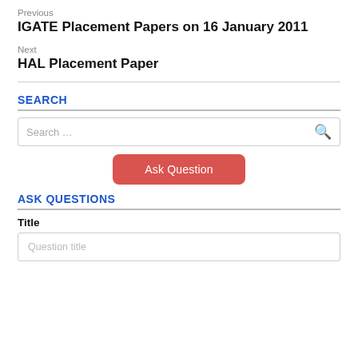Previous
IGATE Placement Papers on 16 January 2011
Next
HAL Placement Paper
SEARCH
[Figure (other): Search input box with search icon]
[Figure (other): Ask Question button (red/salmon colored)]
ASK QUESTIONS
Title
[Figure (other): Question title input box]